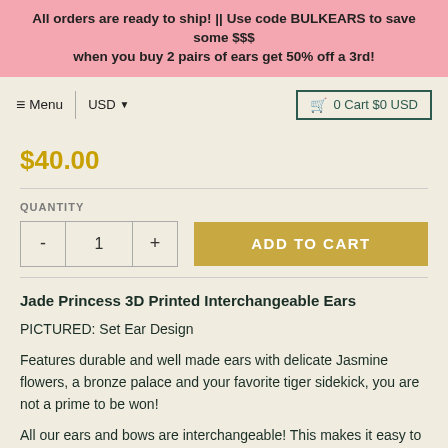All orders are ready to ship! || Use code BULKEARS to save some $$$ when you buy 2 pairs of ears get 50% off a 3rd!
Menu  USD  0 Cart $0 USD
$40.00
QUANTITY
- 1 +  ADD TO CART
Jade Princess 3D Printed Interchangeable Ears
PICTURED: Set Ear Design
Features durable and well made ears with delicate Jasmine flowers, a bronze palace and your favorite tiger sidekick, you are not a prime to be won!
All our ears and bows are interchangeable! This makes it easy to